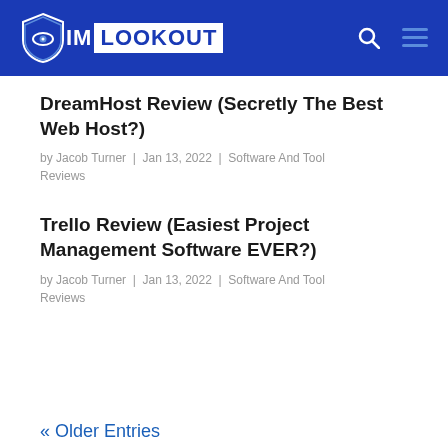IM LOOKOUT
DreamHost Review (Secretly The Best Web Host?)
by Jacob Turner | Jan 13, 2022 | Software And Tool Reviews
Trello Review (Easiest Project Management Software EVER?)
by Jacob Turner | Jan 13, 2022 | Software And Tool Reviews
« Older Entries